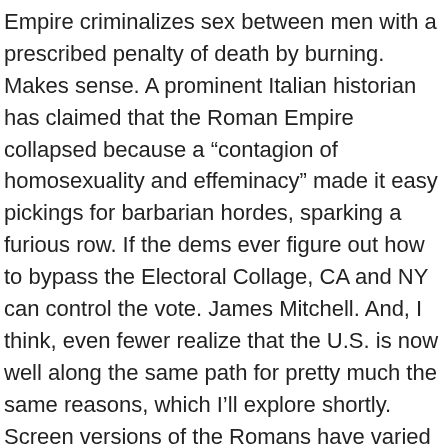Empire criminalizes sex between men with a prescribed penalty of death by burning. Makes sense. A prominent Italian historian has claimed that the Roman Empire collapsed because a “contagion of homosexuality and effeminacy” made it easy pickings for barbarian hordes, sparking a furious row. If the dems ever figure out how to bypass the Electoral Collage, CA and NY can control the vote. James Mitchell. And, I think, even fewer realize that the U.S. is now well along the same path for pretty much the same reasons, which I’ll explore shortly. Screen versions of the Romans have varied from the risque scene involving Tony Curtis and Laurence Olivier; to the rough, tough Maximus Decimus Meridius played by Russell Crowe, to the camp comic Frankie Howerd as Lurcio in Up Pompeii! In The History of the Fall and Decline of the Roman